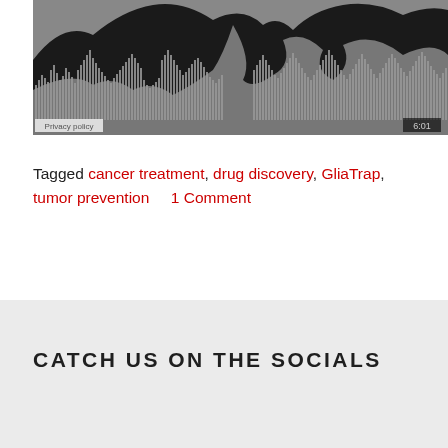[Figure (other): Audio waveform player with black background, gray waveform bars, silhouette of hands/figures in gray, showing time 6:01 and Privacy policy label]
Tagged cancer treatment, drug discovery, GliaTrap, tumor prevention     1 Comment
CATCH US ON THE SOCIALS